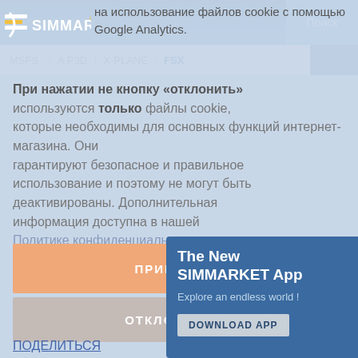[Figure (logo): SIMMARKET logo with arrow emblem]
на использование файлов cookie с помощью Google Analytics.
При нажатии не кнопку «отклонить» используются только файлы cookie, которые необходимы для основных функций интернет-магазина. Они гарантируют безопасное и правильное использование и поэтому не могут быть деактивированы. Дополнительная информация доступна в нашей Политике конфиденциальности.
MSFS  |  A  P3D  |  X-PLANE  |  FSX
Поиск
ПРИНЯТЬ
ОТКЛОНИТЬ
ПОДЕЛИТЬСЯ
[Figure (infographic): The New SIMMARKET App promotional box with 'Explore an endless world!' text and DOWNLOAD APP button]